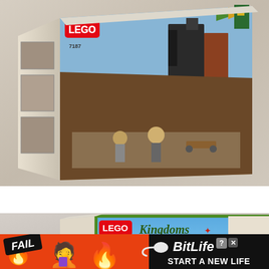[Figure (photo): Photo of a LEGO castle set box (number 7187 visible) placed on a white fabric background. The box shows a medieval castle scene with knights, siege weapons, towers, and battlements. The LEGO logo appears in red and white in the upper left of the box.]
[Figure (photo): Partial photo of a LEGO Kingdoms set box resting on white fabric. The LEGO logo and 'Kingdoms' text are visible on the left side of the box with a sky-blue background.]
[Figure (screenshot): Advertisement banner for BitLife mobile game. Orange/red background on the left side with 'FAIL' badge, a face-palm emoji, and a flame emoji. Right side is a black banner with 'BitLife' logo (sperm-and-egg icon) and the text 'START A NEW LIFE'. Has a close (X) button in top right corner.]